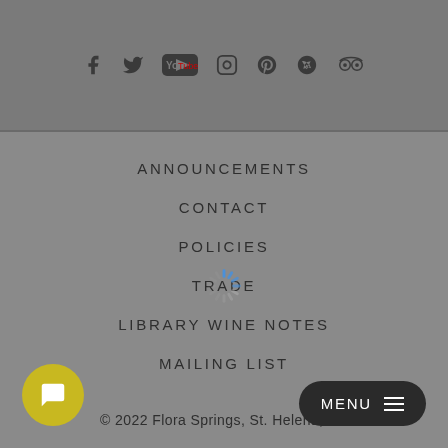[Figure (other): Social media icons row: Facebook, Twitter, YouTube, Instagram, Pinterest, Yelp, TripAdvisor]
ANNOUNCEMENTS
CONTACT
POLICIES
TRADE
LIBRARY WINE NOTES
MAILING LIST
© 2022 Flora Springs, St. Helena, CA